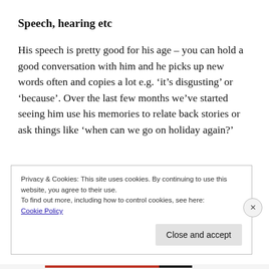Speech, hearing etc
His speech is pretty good for his age – you can hold a good conversation with him and he picks up new words often and copies a lot e.g. ‘it’s disgusting’ or ‘because’. Over the last few months we’ve started seeing him use his memories to relate back stories or ask things like ‘when can we go on holiday again?’
Privacy & Cookies: This site uses cookies. By continuing to use this website, you agree to their use.
To find out more, including how to control cookies, see here:
Cookie Policy
Close and accept